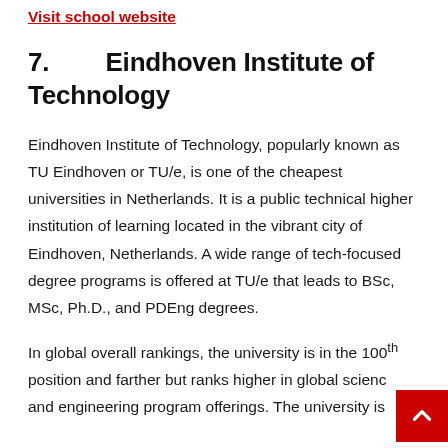Visit school website
7.   Eindhoven Institute of Technology
Eindhoven Institute of Technology, popularly known as TU Eindhoven or TU/e, is one of the cheapest universities in Netherlands. It is a public technical higher institution of learning located in the vibrant city of Eindhoven, Netherlands. A wide range of tech-focused degree programs is offered at TU/e that leads to BSc, MSc, Ph.D., and PDEng degrees.
In global overall rankings, the university is in the 100th position and farther but ranks higher in global science and engineering program offerings. The university is